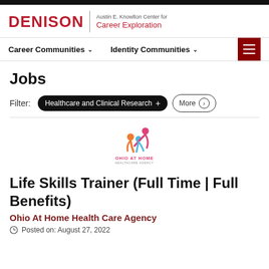DENISON | Austin E. Knowlton Center for Career Exploration
Jobs
Filter: Healthcare and Clinical Research + More
[Figure (logo): Ohio At Home Healthcare Agency logo with colorful figures and text]
Life Skills Trainer (Full Time | Full Benefits)
Ohio At Home Health Care Agency
Posted on: August 27, 2022